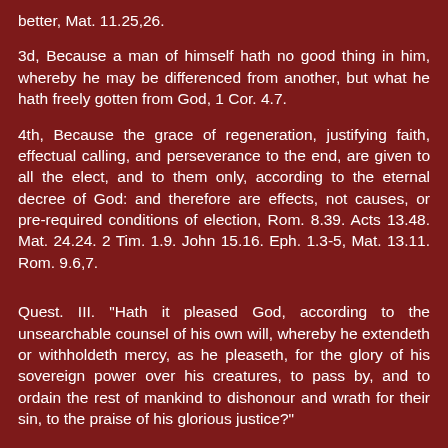better, Mat. 11.25,26.
3d, Because a man of himself hath no good thing in him, whereby he may be differenced from another, but what he hath freely gotten from God, 1 Cor. 4.7.
4th, Because the grace of regeneration, justifying faith, effectual calling, and perseverance to the end, are given to all the elect, and to them only, according to the eternal decree of God: and therefore are effects, not causes, or pre-required conditions of election, Rom. 8.39. Acts 13.48. Mat. 24.24. 2 Tim. 1.9. John 15.16. Eph. 1.3-5, Mat. 13.11. Rom. 9.6,7.
Quest. III. "Hath it pleased God, according to the unsearchable counsel of his own will, whereby he extendeth or withholdeth mercy, as he pleaseth, for the glory of his sovereign power over his creatures, to pass by, and to ordain the rest of mankind to dishonour and wrath for their sin, to the praise of his glorious justice?"